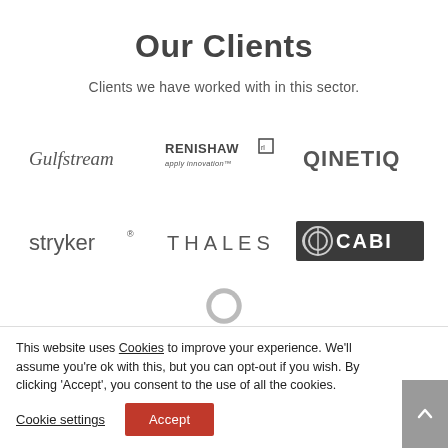Our Clients
Clients we have worked with in this sector.
[Figure (logo): Gulfstream logo in serif italic font]
[Figure (logo): Renishaw logo with tagline 'apply innovation']
[Figure (logo): QinetiQ logo in dark gray]
[Figure (logo): Stryker logo in lowercase sans-serif]
[Figure (logo): Thales logo in spaced uppercase letters]
[Figure (logo): CABI logo with circular icon on dark background]
[Figure (logo): Partially visible circular logo at bottom]
This website uses Cookies to improve your experience. We'll assume you're ok with this, but you can opt-out if you wish. By clicking 'Accept', you consent to the use of all the cookies.
Cookie settings
Accept